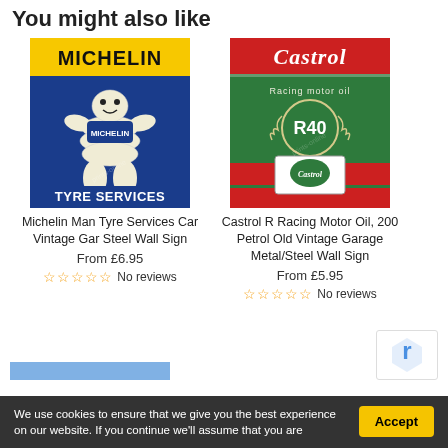You might also like
[Figure (photo): Michelin Man Tyre Services vintage metal wall sign — blue background with Michelin Man character and yellow header bar reading MICHELIN, bottom text TYRE SERVICES]
Michelin Man Tyre Services Car Vintage Gar Steel Wall Sign
From £6.95
No reviews
[Figure (photo): Castrol R Racing Motor Oil R40 vintage metal wall sign — green background with red Castrol logo at top, R40 text with laurel wreath, Castrol logo badge at bottom]
Castrol R Racing Motor Oil, 200 Petrol Old Vintage Garage Metal/Steel Wall Sign
From £5.95
No reviews
We use cookies to ensure that we give you the best experience on our website. If you continue we'll assume that you are